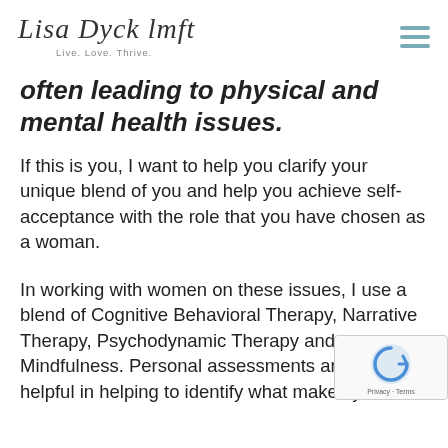Lisa Dyck lmft — Live. Love. Thrive.
often leading to physical and mental health issues.
If this is you, I want to help you clarify your unique blend of you and help you achieve self-acceptance with the role that you have chosen as a woman.
In working with women on these issues, I use a blend of Cognitive Behavioral Therapy, Narrative Therapy, Psychodynamic Therapy and Mindfulness. Personal assessments are also helpful in helping to identify what makes you